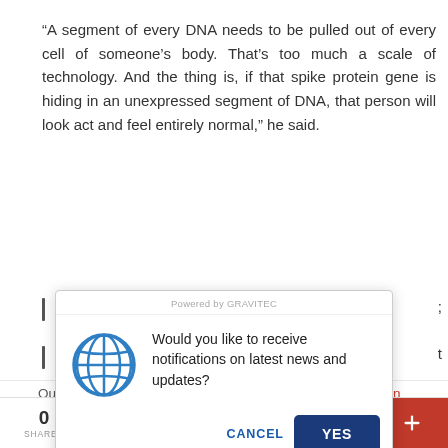“A segment of every DNA needs to be pulled out of every cell of someone’s body. That’s too much a scale of technology. And the thing is, if that spike protein gene is hiding in an unexpressed segment of DNA, that person will look act and feel entirely normal,” he said.
[Figure (screenshot): Browser push notification popup with globe icon asking 'Would you like to receive notifications on latest news and updates?' with CANCEL and YES buttons. Powered by GRAVITEC header.]
women to be infertile.
Our website uses cookies to improve your experience. Learn more
[Figure (screenshot): Social share bar at bottom with share count 0, Facebook, Twitter, email, Pinterest, and more buttons]